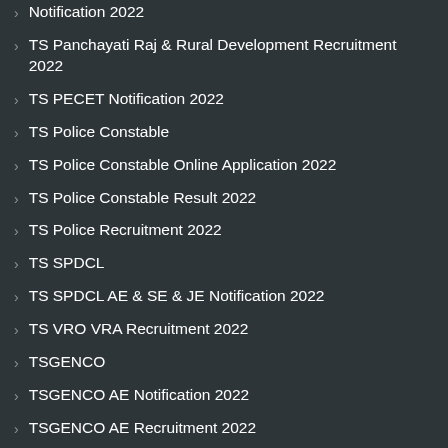Notification 2022
TS Panchayati Raj & Rural Development Recruitment 2022
TS PECET Notification 2022
TS Police Constable
TS Police Constable Online Application 2022
TS Police Constable Result 2022
TS Police Recruitment 2022
TS SPDCL
TS SPDCL AE & SE & JE Notification 2022
TS VRO VRA Recruitment 2022
TSGENCO
TSGENCO AE Notification 2022
TSGENCO AE Recruitment 2022